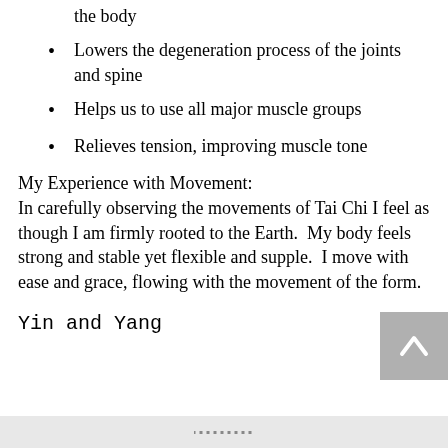the body
Lowers the degeneration process of the joints and spine
Helps us to use all major muscle groups
Relieves tension, improving muscle tone
My Experience with Movement:
In carefully observing the movements of Tai Chi I feel as though I am firmly rooted to the Earth.  My body feels strong and stable yet flexible and supple.  I move with ease and grace, flowing with the movement of the form.
Yin and Yang